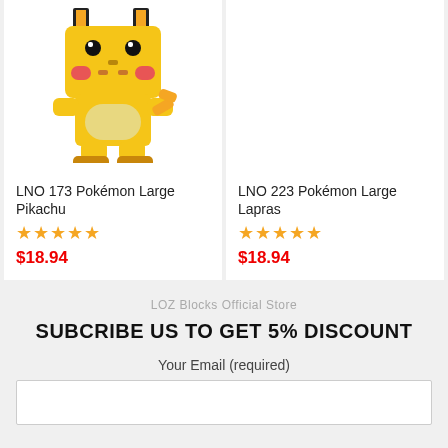[Figure (photo): Pikachu Pokemon large building block toy figure made of yellow bricks, shown on product card]
LNO 173 Pokémon Large Pikachu
★★★★★
$18.94
[Figure (other): Empty product image area for LNO 223 Pokémon Large Lapras]
LNO 223 Pokémon Large Lapras
★★★★★
$18.94
LOZ Blocks Official Store
SUBCRIBE US TO GET 5% DISCOUNT
Your Email (required)